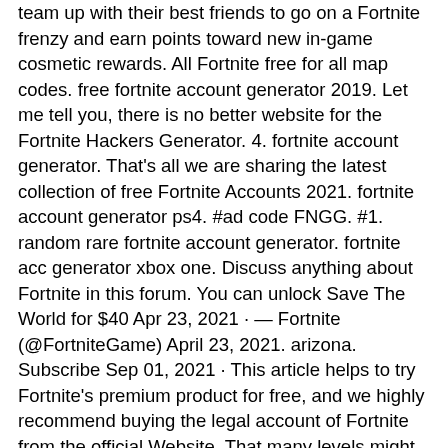team up with their best friends to go on a Fortnite frenzy and earn points toward new in-game cosmetic rewards. All Fortnite free for all map codes. free fortnite account generator 2019. Let me tell you, there is no better website for the Fortnite Hackers Generator. 4. fortnite account generator. That's all we are sharing the latest collection of free Fortnite Accounts 2021. fortnite account generator ps4. #ad code FNGG. #1. random rare fortnite account generator. fortnite acc generator xbox one. Discuss anything about Fortnite in this forum. You can unlock Save The World for $40 Apr 23, 2021 · — Fortnite (@FortniteGame) April 23, 2021. arizona. Subscribe Sep 01, 2021 · This article helps to try Fortnite's premium product for free, and we highly recommend buying the legal account of Fortnite from the official Website. That many levels might look scary at first but don't worry — although you can only register until November 14, the deadline for the rewards isn't as strict. vbucks4free. Mar 07, 2018 · How to earn free V-Bucks in Fortnite as Epic Games warns against online scams you can protect your account and warning not to visit websites claiming to offer free V-Bucks. Preview fortnite 1,016 fortnite account selling 2 accounts 62 fortnite selling 8 sell 30 shop 75 fortnite market 1 gaming 11,204 fortnite trading 13 giveaways 1,150 netflix premium 3 discord nitro 18 roblox 1,191 psn accounts 1 fortnite skins 2 origin accounts 1 save the world 27 account selling 1 market 114 account sell 2 account 21 fortnite